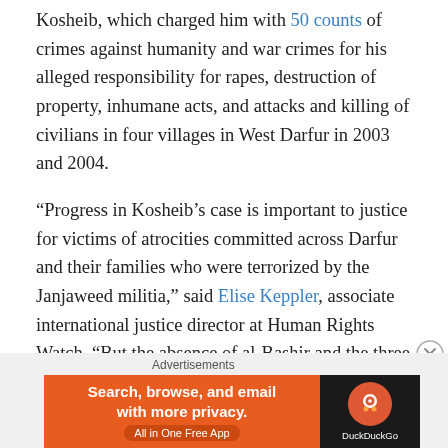Kosheib, which charged him with 50 counts of crimes against humanity and war crimes for his alleged responsibility for rapes, destruction of property, inhumane acts, and attacks and killing of civilians in four villages in West Darfur in 2003 and 2004.
“Progress in Kosheib’s case is important to justice for victims of atrocities committed across Darfur and their families who were terrorized by the Janjaweed militia,” said Elise Keppler, associate international justice director at Human Rights Watch. “But the absence of al-Bashir and the three other Darfur suspects at the ICC is a major shortcoming that the Sudanese authorities should
[Figure (other): DuckDuckGo advertisement banner with orange background on left reading 'Search, browse, and email with more privacy. All in One Free App' and dark background on right with DuckDuckGo logo]